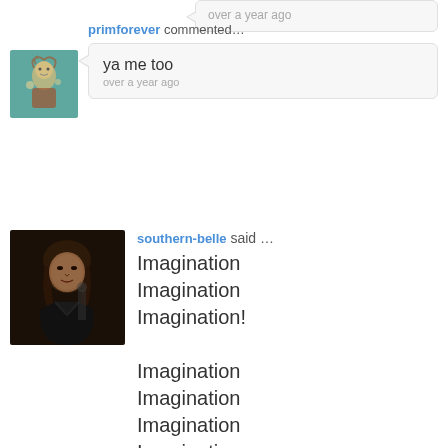over a year ago (partial, top of page)
primforever commented…
ya me too
over a year ago
southern-belle said …
Imagination
Imagination
Imagination!

Imagination
Imagination
Imagination
Imagination

Imagination
Imagination
Imagination

Imagination
Imagination
Imagination